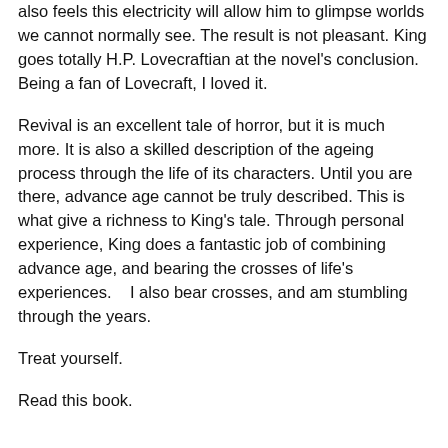also feels this electricity will allow him to glimpse worlds we cannot normally see. The result is not pleasant. King goes totally H.P. Lovecraftian at the novel's conclusion. Being a fan of Lovecraft, I loved it.
Revival is an excellent tale of horror, but it is much more. It is also a skilled description of the ageing process through the life of its characters. Until you are there, advance age cannot be truly described. This is what give a richness to King's tale. Through personal experience, King does a fantastic job of combining advance age, and bearing the crosses of life's experiences.   I also bear crosses, and am stumbling through the years.
Treat yourself.
Read this book.